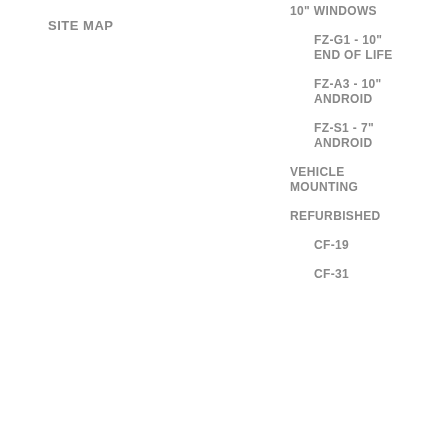SITE MAP
10" WINDOWS
FZ-G1 - 10"
END OF LIFE
FZ-A3 - 10"
ANDROID
FZ-S1 - 7"
ANDROID
VEHICLE
MOUNTING
REFURBISHED
CF-19
CF-31